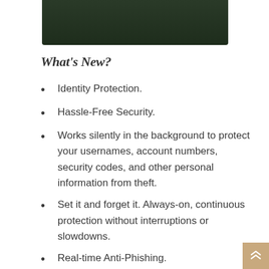[Figure (other): Dark green/olive colored banner image at top of page]
What's New?
Identity Protection.
Hassle-Free Security.
Works silently in the background to protect your usernames, account numbers, security codes, and other personal information from theft.
Set it and forget it. Always-on, continuous protection without interruptions or slowdowns.
Real-time Anti-Phishing.